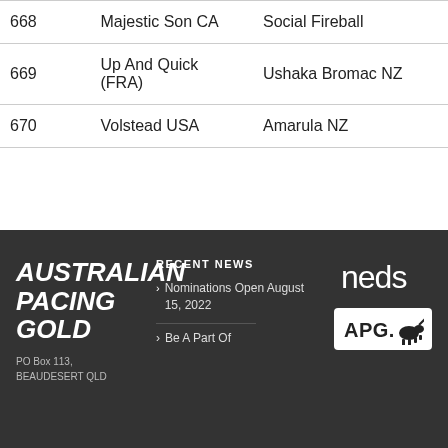| # | Sire | Dam |
| --- | --- | --- |
| 668 | Majestic Son CA | Social Fireball |
| 669 | Up And Quick (FRA) | Ushaka Bromac NZ |
| 670 | Volstead USA | Amarula NZ |
AUSTRALIAN PACING GOLD
PO Box 113, BEAUDESERT QLD
RECENT NEWS
Nominations Open August 15, 2022
Be A Part Of
[Figure (logo): neds logo in white text]
[Figure (logo): APG logo with horse silhouette on white background]